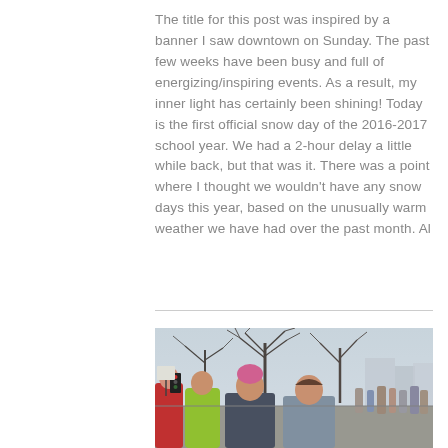The title for this post was inspired by a banner I saw downtown on Sunday. The past few weeks have been busy and full of energizing/inspiring events. As a result, my inner light has certainly been shining! Today is the first official snow day of the 2016-2017 school year. We had a 2-hour delay a little while back, but that was it. There was a point where I thought we wouldn't have any snow days this year, based on the unusually warm weather we have had over the past month. Al
[Figure (photo): Outdoor photo of two smiling women wearing winter clothing (one with a pink beanie) at what appears to be a public gathering or march. Behind them are bare winter trees, a crowd of people, and city buildings under an overcast sky.]